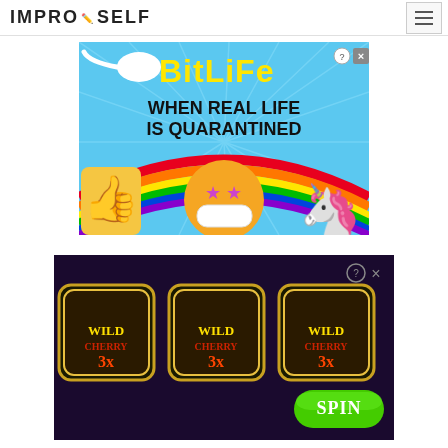IMPRO SELF
[Figure (illustration): BitLife advertisement banner. Sky blue background with radiating lines. Text: 'BitLife' in yellow bold font, 'WHEN REAL LIFE IS QUARANTINED' in black bold text. Features a sperm cell graphic, a star-eyed emoji with face mask, a thumbs-up hand, and a unicorn. Small ? and X close buttons in top right corner.]
[Figure (illustration): Wild Cherry 3x slot machine advertisement. Shows three Wild Cherry 3x slot symbols and a green SPIN button. Small ? and X close buttons visible. Dark background.]